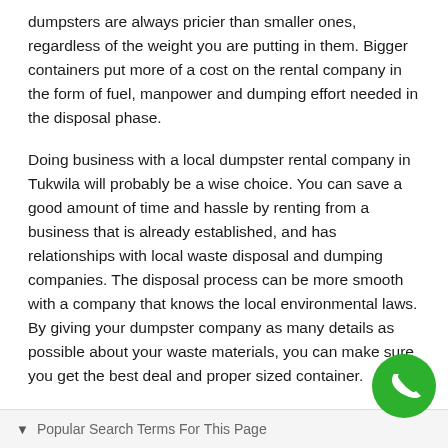dumpsters are always pricier than smaller ones, regardless of the weight you are putting in them. Bigger containers put more of a cost on the rental company in the form of fuel, manpower and dumping effort needed in the disposal phase.
Doing business with a local dumpster rental company in Tukwila will probably be a wise choice. You can save a good amount of time and hassle by renting from a business that is already established, and has relationships with local waste disposal and dumping companies. The disposal process can be more smooth with a company that knows the local environmental laws. By giving your dumpster company as many details as possible about your waste materials, you can make sure you get the best deal and proper sized container.
[Figure (other): Green circular phone/call button icon in bottom right corner]
Popular Search Terms For This Page